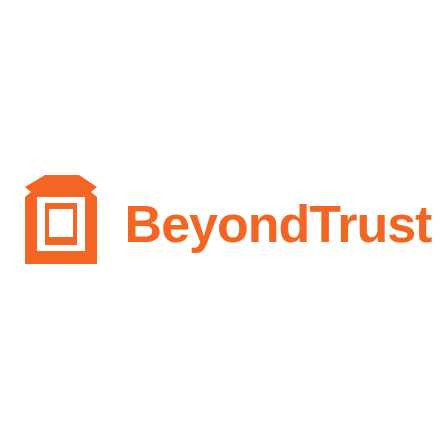[Figure (logo): BeyondTrust logo: orange stylized 'b' icon on the left followed by the text 'BeyondTrust' in bold orange sans-serif font]